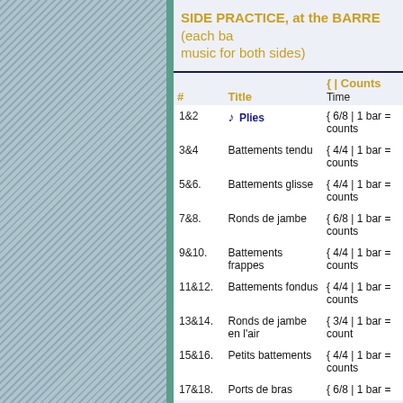SIDE PRACTICE, at the BARRE (each ba... music for both sides)
| # | Title | { | Counts Time |
| --- | --- | --- |
| 1&2 | ♪ Plies | { 6/8 | 1 bar = counts |
| 3&4 | Battements tendu | { 4/4 | 1 bar = counts |
| 5&6. | Battements glisse | { 4/4 | 1 bar = counts |
| 7&8. | Ronds de jambe | { 6/8 | 1 bar = counts |
| 9&10. | Battements frappes | { 4/4 | 1 bar = counts |
| 11&12. | Battements fondus | { 4/4 | 1 bar = counts |
| 13&14. | Ronds de jambe en l'air | { 3/4 | 1 bar = count |
| 15&16. | Petits battements | { 4/4 | 1 bar = counts |
| 17&18. | Ports de bras | { 6/8 | 1 bar = |